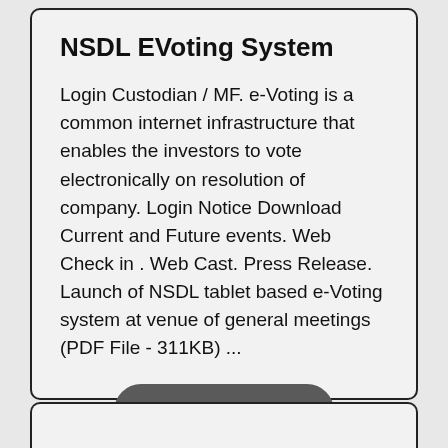NSDL EVoting System
Login Custodian / MF. e-Voting is a common internet infrastructure that enables the investors to vote electronically on resolution of company. Login Notice Download Current and Future events. Web Check in . Web Cast. Press Release. Launch of NSDL tablet based e-Voting system at venue of general meetings (PDF File - 311KB) ...
Visit